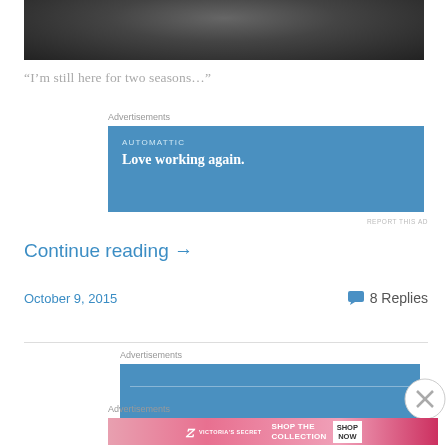[Figure (photo): Dark photo at top of page, appears to show a person in dark clothing]
“I’m still here for two seasons…”
Advertisements
[Figure (other): Blue advertisement banner for Automattic reading 'Love working again.']
REPORT THIS AD
Continue reading →
October 9, 2015
8 Replies
Advertisements
[Figure (other): Second blue advertisement banner for Automattic, partially visible with horizontal line]
Advertisements
[Figure (other): Victoria's Secret advertisement banner with pink background reading 'SHOP THE COLLECTION - SHOP NOW']